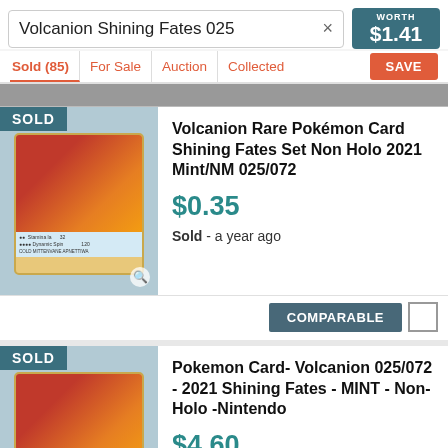Volcanion Shining Fates 025
WORTH $1.41
Sold (85) | For Sale | Auction | Collected
SAVE
SOLD
Volcanion Rare Pokémon Card Shining Fates Set Non Holo 2021 Mint/NM 025/072
$0.35
Sold - a year ago
COMPARABLE
SOLD
Pokemon Card- Volcanion 025/072 - 2021 Shining Fates - MINT - Non-Holo -Nintendo
$4.60
Sold - a year ago
COMPARABLE